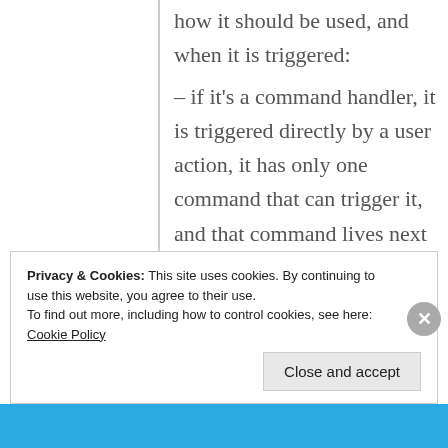how it should be used, and when it is triggered:
– if it's a command handler, it is triggered directly by a user action, it has only one command that can trigger it, and that command lives next to the handler;
– if it's an event listener, it is triggered as a result of a use case, after a command handler has been executed.
Privacy & Cookies: This site uses cookies. By continuing to use this website, you agree to their use. To find out more, including how to control cookies, see here: Cookie Policy